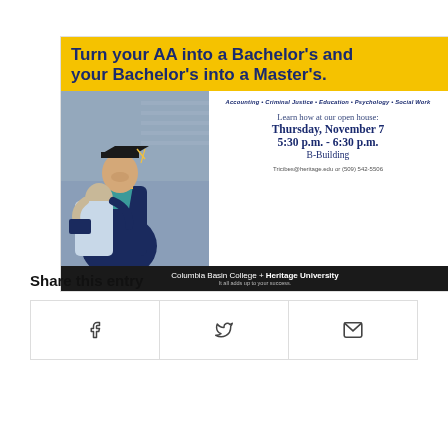[Figure (infographic): Advertisement for Columbia Basin College and Heritage University open house. Yellow header reads 'Turn your AA into a Bachelor's and your Bachelor's into a Master's.' Left side shows photo of graduate in cap and gown hugging someone. Right side lists subjects: Accounting, Criminal Justice, Education, Psychology, Social Work. Event details: Learn how at our open house: Thursday, November 7, 5:30 p.m. - 6:30 p.m., B-Building. Contact: Tricibes@heritage.edu or (509) 542-5506. Footer: Columbia Basin College + Heritage University - It all adds up to your success.]
Share this entry
[Figure (infographic): Three share buttons side by side: Facebook (f icon), Twitter (bird icon), Email (envelope icon)]